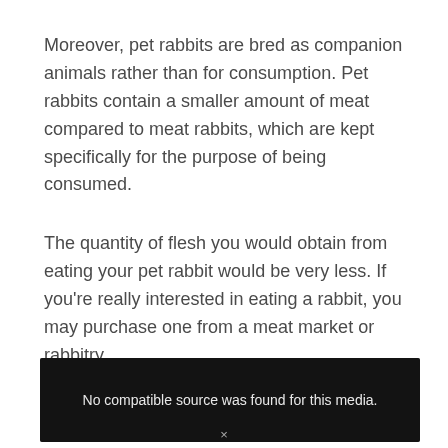Moreover, pet rabbits are bred as companion animals rather than for consumption. Pet rabbits contain a smaller amount of meat compared to meat rabbits, which are kept specifically for the purpose of being consumed.
The quantity of flesh you would obtain from eating your pet rabbit would be very less. If you're really interested in eating a rabbit, you may purchase one from a meat market or rabbitry.
[Figure (other): Video player showing a dark scene with text overlay: 'No compatible source was found for this media.']